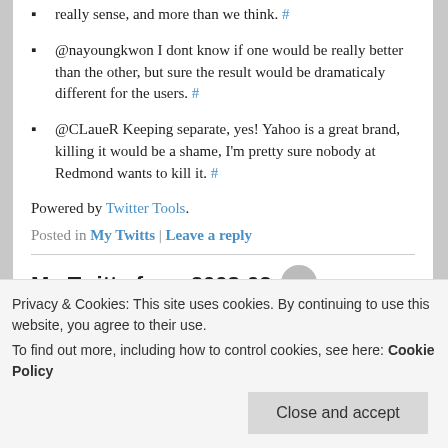really sense, and more than we think. #
@nayoungkwon I dont know if one would be really better than the other, but sure the result would be dramaticaly different for the users. #
@CLaueR Keeping separate, yes! Yahoo is a great brand, killing it would be a shame, I'm pretty sure nobody at Redmond wants to kill it. #
Powered by Twitter Tools.
Posted in My Twitts | Leave a reply
My Twitts from 2008-02
The Night & The Music event at Olympia Dec 17, 07
Privacy & Cookies: This site uses cookies. By continuing to use this website, you agree to their use.
To find out more, including how to control cookies, see here: Cookie Policy